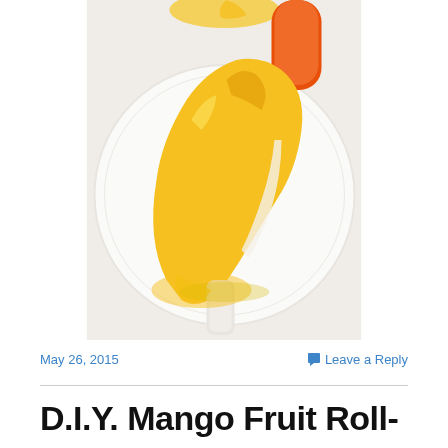[Figure (photo): A partially melted yellow mango popsicle on a white plate, with an orange and red popsicle visible at top right, shot from above.]
May 26, 2015
Leave a Reply
D.I.Y. Mango Fruit Roll-ups- How To Make Dehydrated